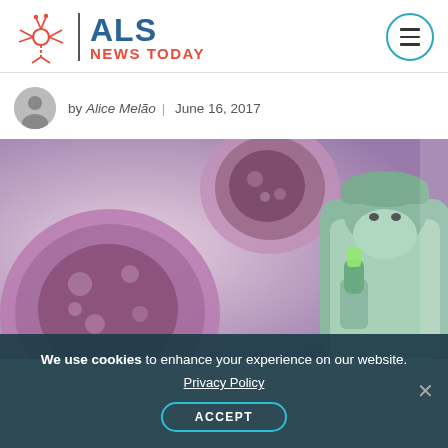ALS NEWS TODAY
by Alice Melão | June 16, 2017
[Figure (photo): Medical research photo showing close-up of purple/pink cell structures on the left and a researcher in protective gear (mask, cap, gown) examining a sample on the right.]
We use cookies to enhance your experience on our website. Privacy Policy ACCEPT